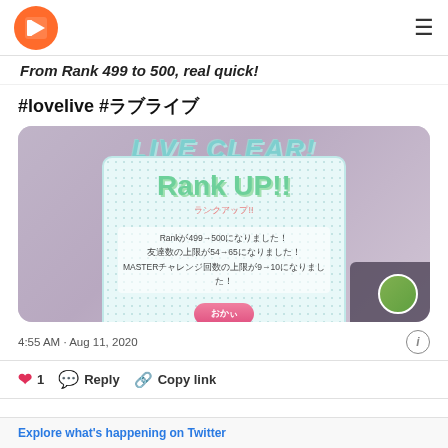Logo and navigation header
From Rank 499 to 500, real quick!
#lovelive #ラブライブ
[Figure (screenshot): Game screenshot showing LIVE CLEAR! and Rank UP!! popup dialog. The popup shows: Rankが499→500になりました！友達数の上限が54→65になりました！MASTERチャレンジ回数の上限が9→10になりました！ with an OK button.]
4:55 AM · Aug 11, 2020
❤ 1  Reply  Copy link
Explore what's happening on Twitter